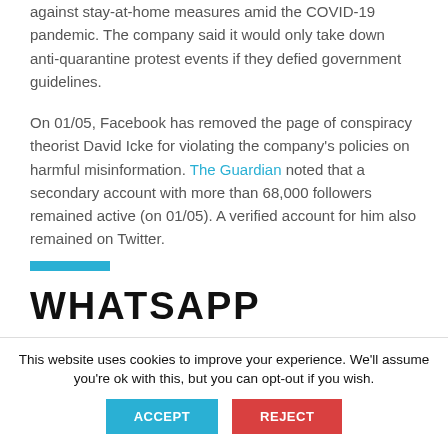against stay-at-home measures amid the COVID-19 pandemic. The company said it would only take down anti-quarantine protest events if they defied government guidelines.
On 01/05, Facebook has removed the page of conspiracy theorist David Icke for violating the company's policies on harmful misinformation. The Guardian noted that a secondary account with more than 68,000 followers remained active (on 01/05). A verified account for him also remained on Twitter.
[Figure (logo): WhatsApp logo text in large bold uppercase letters]
This website uses cookies to improve your experience. We'll assume you're ok with this, but you can opt-out if you wish.